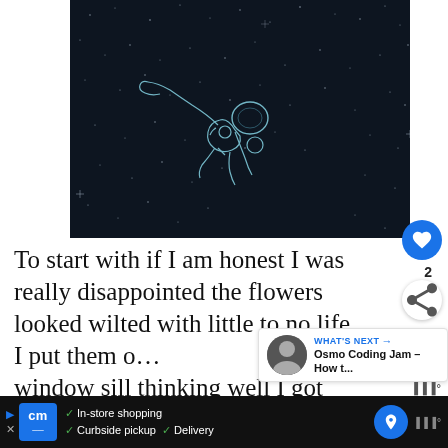[Figure (illustration): Dark starry space background with a white outline sketch of an astronaut floating/drifting in space.]
To start with if I am honest I was really disappointed the flowers looked wilted with little to no life. I put them o... window sill thinking well I got them really...
[Figure (infographic): WHAT'S NEXT overlay card showing a thumbnail of a person with text 'Osmo Coding Jam – How t...']
[Figure (infographic): Bottom ad bar: cm logo, In-store shopping, Curbside pickup, Delivery checkmarks, blue navigation arrow]